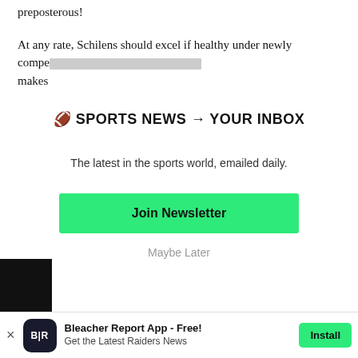preposterous!
At any rate, Schilens should excel if healthy under newly compe[redacted] makes
🏈 SPORTS NEWS → YOUR INBOX
The latest in the sports world, emailed daily.
Join Newsletter
Maybe Later
Bleacher Report App - Free! Get the Latest Raiders News
Install